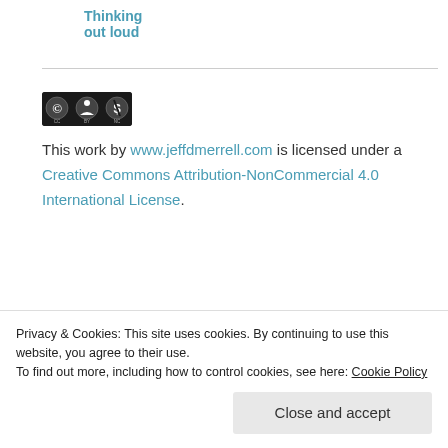Thinking out loud
[Figure (logo): Creative Commons CC BY-NC logo badge]
This work by www.jeffdmerrell.com is licensed under a Creative Commons Attribution-NonCommercial 4.0 International License.
Privacy & Cookies: This site uses cookies. By continuing to use this website, you agree to their use.
To find out more, including how to control cookies, see here: Cookie Policy